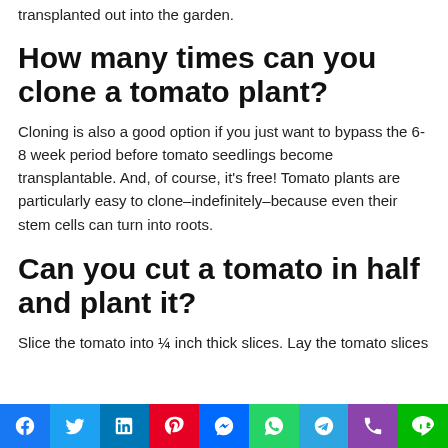transplanted out into the garden.
How many times can you clone a tomato plant?
Cloning is also a good option if you just want to bypass the 6-8 week period before tomato seedlings become transplantable. And, of course, it's free! Tomato plants are particularly easy to clone–indefinitely–because even their stem cells can turn into roots.
Can you cut a tomato in half and plant it?
Slice the tomato into ¼ inch thick slices. Lay the tomato slices